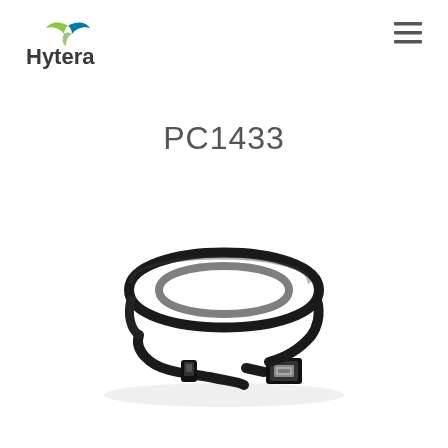[Figure (logo): Hytera logo with stylized wing/leaf mark in green and blue above the brand name]
PC1433
[Figure (photo): Black USB cable coiled in an oval shape with a mini-USB connector on one end and a standard USB Type-A connector on the other end, photographed on a white background]